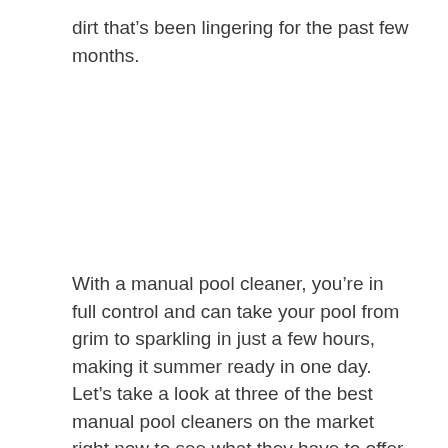dirt that's been lingering for the past few months.
With a manual pool cleaner, you're in full control and can take your pool from grim to sparkling in just a few hours, making it summer ready in one day. Let's take a look at three of the best manual pool cleaners on the market right now to see what they have to offer.